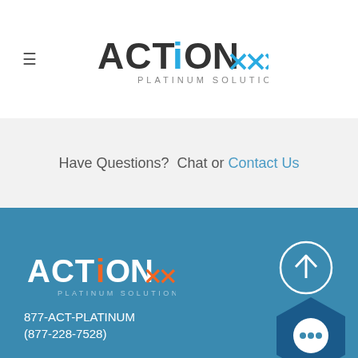[Figure (logo): Action Platinum Solutions logo with dark text ACTION and blue arrows, subtitle PLATINUM SOLUTIONS]
Have Questions?  Chat or Contact Us
[Figure (logo): Action Platinum Solutions white logo with orange arrows on blue background]
877-ACT-PLATINUM
(877-228-7528)
Terms and Conditions
Privacy Policy
[Figure (illustration): Scroll to top button: circle with up arrow above a hexagon chat icon]